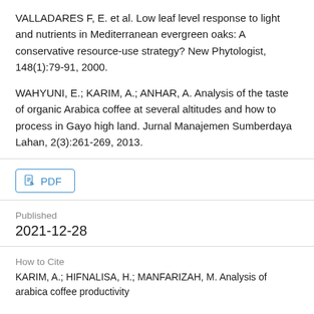VALLADARES F, E. et al. Low leaf level response to light and nutrients in Mediterranean evergreen oaks: A conservative resource-use strategy? New Phytologist, 148(1):79-91, 2000.
WAHYUNI, E.; KARIM, A.; ANHAR, A. Analysis of the taste of organic Arabica coffee at several altitudes and how to process in Gayo high land. Jurnal Manajemen Sumberdaya Lahan, 2(3):261-269, 2013.
PDF
Published
2021-12-28
How to Cite
KARIM, A.; HIFNALISA, H.; MANFARIZAH, M. Analysis of arabica coffee productivity